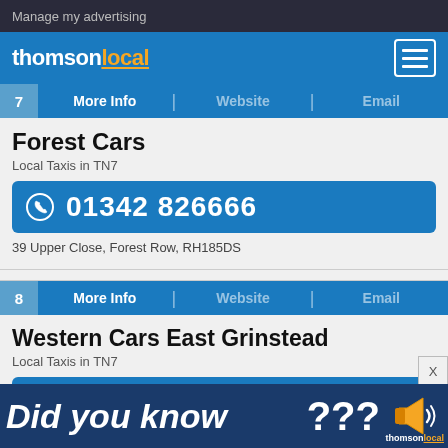Manage my advertising
[Figure (logo): Thomson Local logo with menu icon on blue header]
7  More Info  |  Website  |  Email
Forest Cars
Local Taxis in TN7
01342 826666
39 Upper Close, Forest Row, RH185DS
8  More Info  |  Website  |  Email
Western Cars East Grinstead
Local Taxis in TN7
01342 327500
99 London Road, East Grinstead, RH191EQ
[Figure (infographic): Did you know??? Thomson Local ad banner with megaphone]